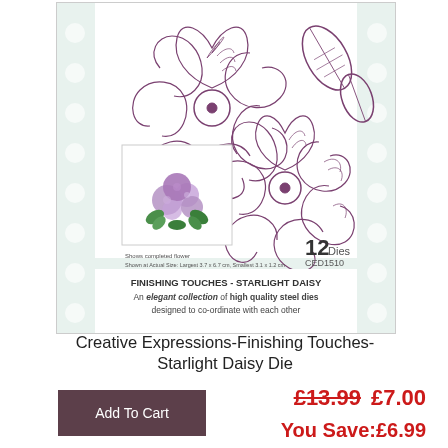[Figure (illustration): Product packaging image showing Creative Expressions Finishing Touches Starlight Daisy Die - 12 dies (CED1510). Features decorative flower outlines with swirling petal details in purple, two leaf designs, and a smaller inset image showing a completed purple flower arrangement. Text on package reads: FINISHING TOUCHES - STARLIGHT DAISY, An elegant collection of high quality steel dies designed to co-ordinate with each other. Shows completed flower. Shown at Actual Size: Largest 3.7 x 6.7 cm, Smallest 3.1 x 1.2 cm.]
Creative Expressions-Finishing Touches-Starlight Daisy Die
Add To Cart
£13.99  £7.00
You Save:£6.99